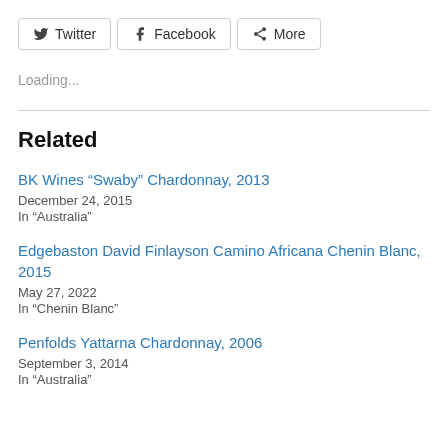Twitter
Facebook
More
Loading...
Related
BK Wines “Swaby” Chardonnay, 2013
December 24, 2015
In "Australia"
Edgebaston David Finlayson Camino Africana Chenin Blanc, 2015
May 27, 2022
In "Chenin Blanc"
Penfolds Yattarna Chardonnay, 2006
September 3, 2014
In "Australia"